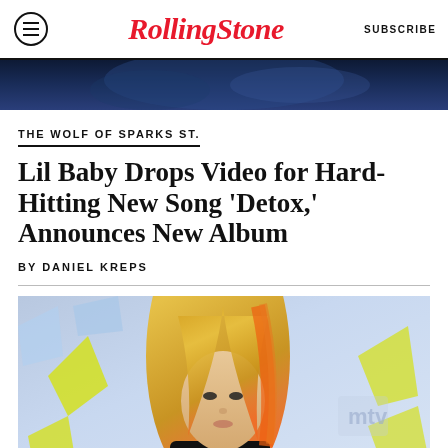Rolling Stone | SUBSCRIBE
[Figure (photo): Dark blue toned partial hero image at the top of the article]
THE WOLF OF SPARKS ST.
Lil Baby Drops Video for Hard-Hitting New Song ‘Detox,’ Announces New Album
BY DANIEL KREPS
[Figure (photo): Woman with long blonde and orange-highlighted hair, wearing black, standing in front of an MTV awards backdrop with yellow and light blue decorative shapes]